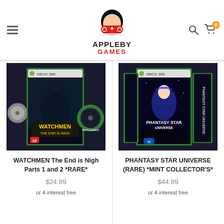[Figure (logo): Appleby Games logo — stylized face with red gamepad controller mask, black hair above, text APPLEBY GAMES below in black and red]
[Figure (photo): Xbox 360 game Watchmen: The End is Nigh Parts 1 and 2 — game cases and disc displayed]
WATCHMEN The End is Nigh Parts 1 and 2 *RARE*
$24.99
or 4 interest free
[Figure (photo): Xbox 360 game Phantasy Star Universe (Rare) Mint Collector's — game cases displayed]
PHANTASY STAR UNIVERSE (RARE) *MINT COLLECTOR'S*
$44.99
or 4 interest free